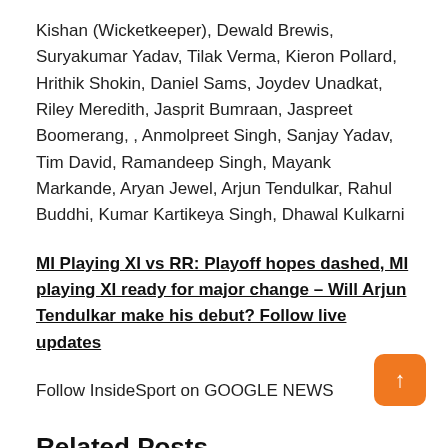Kishan (Wicketkeeper), Dewald Brewis, Suryakumar Yadav, Tilak Verma, Kieron Pollard, Hrithik Shokin, Daniel Sams, Joydev Unadkat, Riley Meredith, Jasprit Bumraan, Jaspreet Boomerang, , Anmolpreet Singh, Sanjay Yadav, Tim David, Ramandeep Singh, Mayank Markande, Aryan Jewel, Arjun Tendulkar, Rahul Buddhi, Kumar Kartikeya Singh, Dhawal Kulkarni
MI Playing XI vs RR: Playoff hopes dashed, MI playing XI ready for major change – Will Arjun Tendulkar make his debut? Follow live updates
Follow InsideSport on GOOGLE NEWS
Related Posts